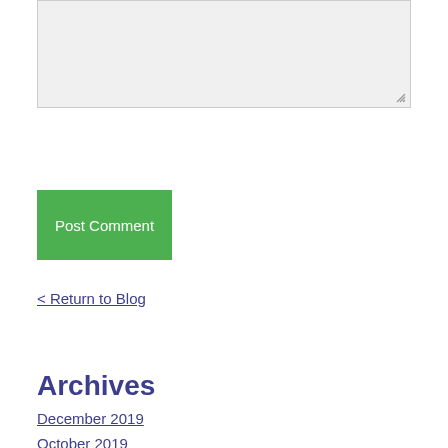[Figure (screenshot): A textarea input box with a light gray background and resize handle in the bottom-right corner]
Post Comment
< Return to Blog
Archives
December 2019
October 2019